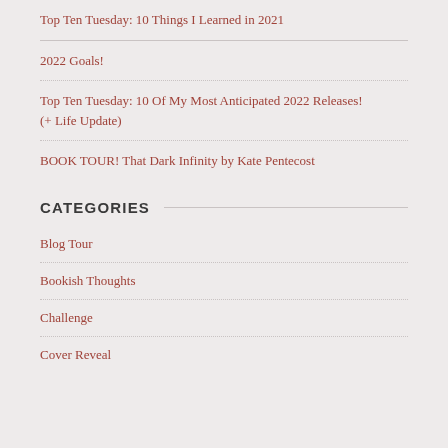Top Ten Tuesday: 10 Things I Learned in 2021
2022 Goals!
Top Ten Tuesday: 10 Of My Most Anticipated 2022 Releases! (+ Life Update)
BOOK TOUR! That Dark Infinity by Kate Pentecost
CATEGORIES
Blog Tour
Bookish Thoughts
Challenge
Cover Reveal